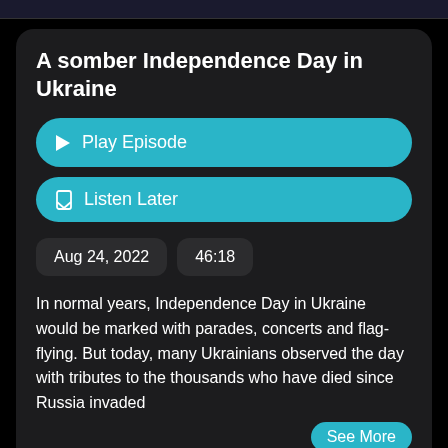A somber Independence Day in Ukraine
Play Episode
Listen Later
Aug 24, 2022
46:18
In normal years, Independence Day in Ukraine would be marked with parades, concerts and flag-flying. But today, many Ukrainians observed the day with tributes to the thousands who have died since Russia invaded
See More
# new york
# uk
# russia
# ukraine
# jerusalem
# scotland